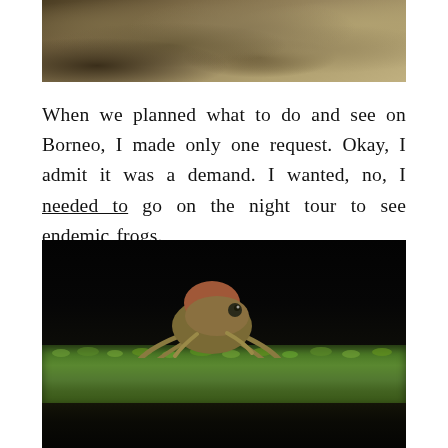[Figure (photo): Top portion of a photo showing rocks and leaves on the ground, partially cropped at the top of the page]
When we planned what to do and see on Borneo, I made only one request. Okay, I admit it was a demand. I wanted, no, I needed to go on the night tour to see endemic frogs.
[Figure (photo): A frog sitting on a mossy surface against a dark background, photographed at night in Borneo]